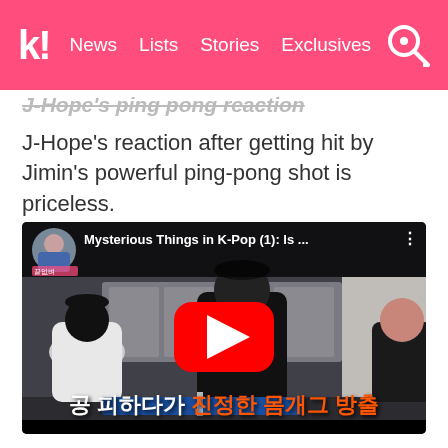k! News Lists Stories Exclusives
J-Hope's ping pong reaction
J-Hope's reaction after getting hit by Jimin's powerful ping-pong shot is priceless.
[Figure (screenshot): YouTube video thumbnail showing people playing ping pong indoors. Title reads 'Mysterious Things in K-Pop (1): Is ...' with Korean subtitle text at the bottom: '공 피하다가 진정한 몸개그 방출'. YouTube play button visible in center.]